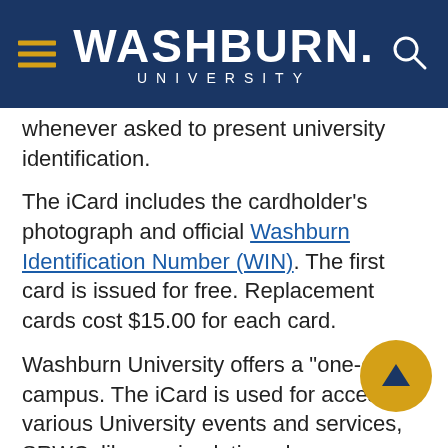Washburn University
whenever asked to present university identification.
The iCard includes the cardholder's photograph and official Washburn Identification Number (WIN). The first card is issued for free. Replacement cards cost $15.00 for each card.
Washburn University offers a "one-card" campus. The iCard is used for access to various University events and services, SRWC, library circulation, door access for the Living Learning Center, Lincoln Dining and Washburn Village and for establishing declining balance accounts